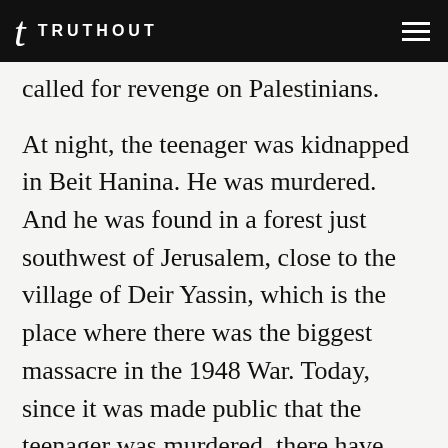TRUTHOUT
called for revenge on Palestinians.
At night, the teenager was kidnapped in Beit Hanina. He was murdered. And he was found in a forest just southwest of Jerusalem, close to the village of Deir Yassin, which is the place where there was the biggest massacre in the 1948 War. Today, since it was made public that the teenager was murdered, there have been rights all over East Jerusalem, and especially in the refugee camp of Shuafat, where two photojournalists from ActiveStills were badly